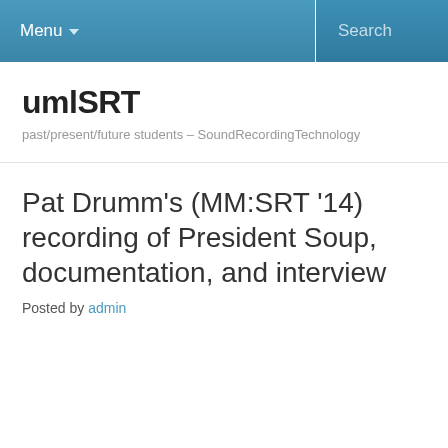Menu  Search
umlSRT
past/present/future students – SoundRecordingTechnology
Pat Drumm's (MM:SRT '14) recording of President Soup, documentation, and interview
Posted by admin